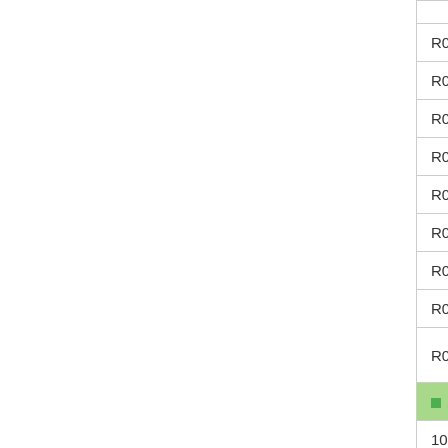| Code | Description |
| --- | --- |
|  |  |
| R01 | Japanese d... |
| R02 | Chinese di... |
| R03 | English dic... |
| R04 | German di... |
| R05 | French dic... |
| R06 | Spanish di... |
| R07 | Italian dict... |
| R08 | Russian di... |
| R09 | Bibliograph... Writing tec... |
|  | 1. Mathematic... |
| 10 | General |